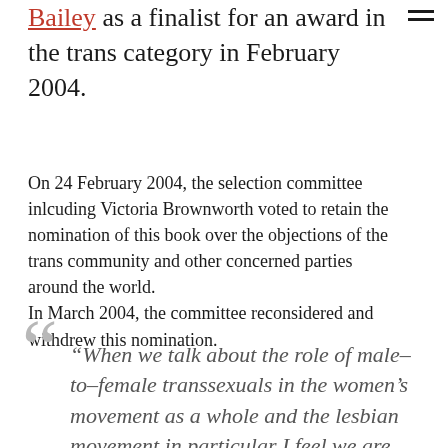Bailey as a finalist for an award in the trans category in February 2004.
On 24 February 2004, the selection committee inlcuding Victoria Brownworth voted to retain the nomination of this book over the objections of the trans community and other concerned parties around the world.
In March 2004, the committee reconsidered and withdrew this nomination.
“When we talk about the role of male–to–female transsexuals in the women’s movement as a whole and the lesbian movement in particular I feel we are talking